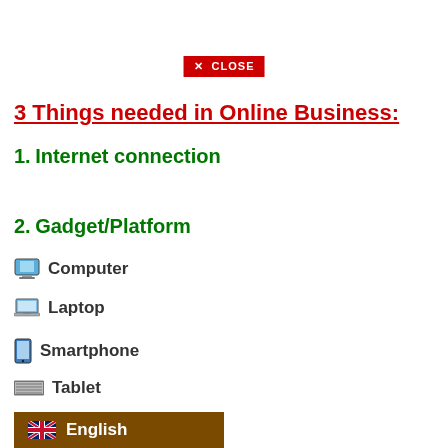[Figure (screenshot): Red close button with X icon and text CLOSE]
3 Things needed in Online Business:
1. Internet connection
2. Gadget/Platform
🖥 Computer
💻 Laptop
📱 Smartphone
⌨ Tablet
[Figure (screenshot): Brown language bar showing UK flag and English text]